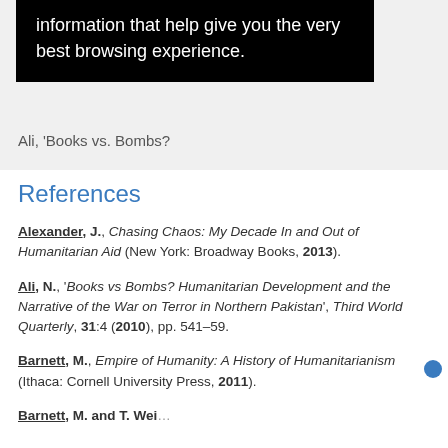[Figure (screenshot): Black tooltip overlay with white text reading 'information that help give you the very best browsing experience.']
Ali, 'Books vs. Bombs?
References
Alexander, J., Chasing Chaos: My Decade In and Out of Humanitarian Aid (New York: Broadway Books, 2013).
Ali, N., 'Books vs Bombs? Humanitarian Development and the Narrative of the War on Terror in Northern Pakistan', Third World Quarterly, 31:4 (2010), pp. 541–59.
Barnett, M., Empire of Humanity: A History of Humanitarianism (Ithaca: Cornell University Press, 2011).
Barnett, M. and T. Wei...